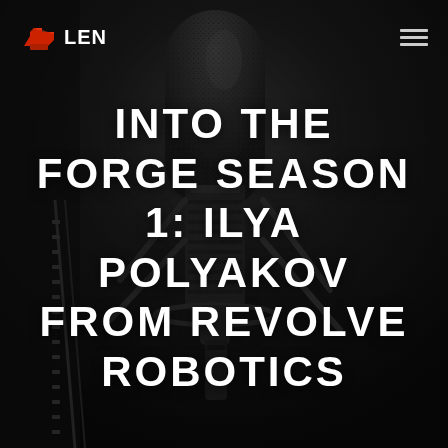[Figure (photo): Dark background photo of a professional studio condenser microphone with shock mount, close-up, moody dark lighting]
LEN (logo with anvil icon)
INTO THE FORGE SEASON 1: ILYA POLYAKOV FROM REVOLVE ROBOTICS